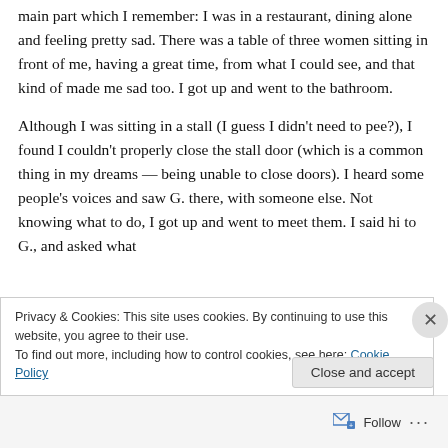main part which I remember:  I was in a restaurant, dining alone and feeling pretty sad.  There was a table of three women sitting in front of me, having a great time, from what I could see, and that kind of made me sad too.  I got up and went to the bathroom.
Although I was sitting in a stall (I guess I didn't need to pee?), I found I couldn't properly close the stall door (which is a common thing in my dreams — being unable to close doors).  I heard some people's voices and saw G. there, with someone else.  Not knowing what to do, I got up and went to meet them.  I said hi to G., and asked what
Privacy & Cookies: This site uses cookies. By continuing to use this website, you agree to their use.
To find out more, including how to control cookies, see here: Cookie Policy
Close and accept
Follow